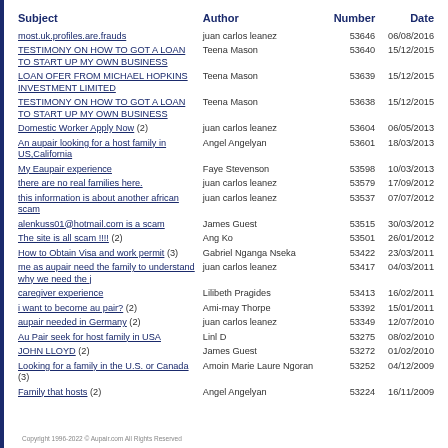| Subject | Author | Number | Date |
| --- | --- | --- | --- |
| most.uk.profiles.are.frauds | juan carlos leanez | 53646 | 06/08/2016 |
| TESTIMONY ON HOW TO GOT A LOAN TO START UP MY OWN BUSINESS | Teena Mason | 53640 | 15/12/2015 |
| LOAN OFER FROM MICHAEL HOPKINS INVESTMENT LIMITED | Teena Mason | 53639 | 15/12/2015 |
| TESTIMONY ON HOW TO GOT A LOAN TO START UP MY OWN BUSINESS | Teena Mason | 53638 | 15/12/2015 |
| Domestic Worker Apply Now (2) | juan carlos leanez | 53604 | 06/05/2013 |
| An aupair looking for a host family in US,California | Angel Angelyan | 53601 | 18/03/2013 |
| My Eaupair experience | Faye Stevenson | 53598 | 10/03/2013 |
| there are no real families here. | juan carlos leanez | 53579 | 17/09/2012 |
| this information is about another african scam | juan carlos leanez | 53537 | 07/07/2012 |
| alenkuss01@hotmail.com is a scam | James Guest | 53515 | 30/03/2012 |
| The site is all scam !!!! (2) | Ang Ko | 53501 | 26/01/2012 |
| How to Obtain Visa and work permit (3) | Gabriel Nganga Nseka | 53422 | 23/03/2011 |
| me as aupair need the family to understand why we need the j | juan carlos leanez | 53417 | 04/03/2011 |
| caregiver experience | Lilibeth Pragides | 53413 | 16/02/2011 |
| i want to become au pair? (2) | Ami-may Thorpe | 53392 | 15/01/2011 |
| aupair needed in Germany (2) | juan carlos leanez | 53349 | 12/07/2010 |
| Au Pair seek for host family in USA | Linl D | 53275 | 08/02/2010 |
| JOHN LLOYD (2) | James Guest | 53272 | 01/02/2010 |
| Looking for a family in the U.S. or Canada (3) | Amoin Marie Laure Ngoran | 53252 | 04/12/2009 |
| Family that hosts (2) | Angel Angelyan | 53224 | 16/11/2009 |
Copyright 1996-2022 © Aupair.com All Rights Reserved